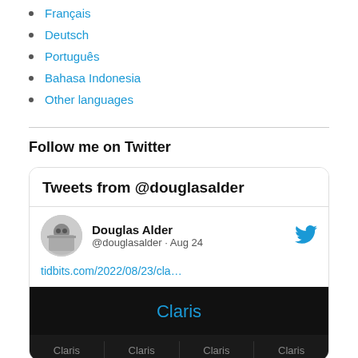Français
Deutsch
Português
Bahasa Indonesia
Other languages
Follow me on Twitter
[Figure (screenshot): Twitter widget showing tweets from @douglasalder. Header reads 'Tweets from @douglasalder'. Below is a tweet by Douglas Alder (@douglasalder · Aug 24) with a link tidbits.com/2022/08/23/cla… and a dark background image showing 'Claris' branding with a grid of Claris logos below.]